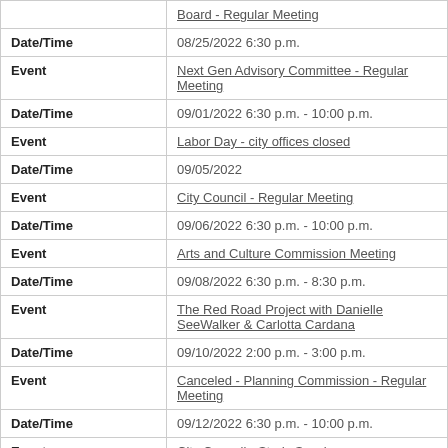| Field | Value |
| --- | --- |
| Event | Board - Regular Meeting |
| Date/Time | 08/25/2022 6:30 p.m. |
| Event | Next Gen Advisory Committee - Regular Meeting |
| Date/Time | 09/01/2022 6:30 p.m. - 10:00 p.m. |
| Event | Labor Day - city offices closed |
| Date/Time | 09/05/2022 |
| Event | City Council - Regular Meeting |
| Date/Time | 09/06/2022 6:30 p.m. - 10:00 p.m. |
| Event | Arts and Culture Commission Meeting |
| Date/Time | 09/08/2022 6:30 p.m. - 8:30 p.m. |
| Event | The Red Road Project with Danielle SeeWalker & Carlotta Cardana |
| Date/Time | 09/10/2022 2:00 p.m. - 3:00 p.m. |
| Event | Canceled - Planning Commission - Regular Meeting |
| Date/Time | 09/12/2022 6:30 p.m. - 10:00 p.m. |
| Event | City Council - Study Session |